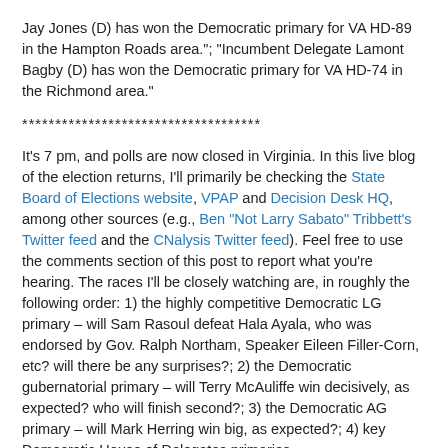Jay Jones (D) has won the Democratic primary for VA HD-89 in the Hampton Roads area."; "Incumbent Delegate Lamont Bagby (D) has won the Democratic primary for VA HD-74 in the Richmond area."
************************************
It's 7 pm, and polls are now closed in Virginia. In this live blog of the election returns, I'll primarily be checking the State Board of Elections website, VPAP and Decision Desk HQ, among other sources (e.g., Ben "Not Larry Sabato" Tribbett's Twitter feed and the CNalysis Twitter feed). Feel free to use the comments section of this post to report what you're hearing. The races I'll be closely watching are, in roughly the following order: 1) the highly competitive Democratic LG primary – will Sam Rasoul defeat Hala Ayala, who was endorsed by Gov. Ralph Northam, Speaker Eileen Filler-Corn, etc? will there be any surprises?; 2) the Democratic gubernatorial primary – will Terry McAuliffe win decisively, as expected? who will finish second?; 3) the Democratic AG primary – will Mark Herring win big, as expected?; 4) key Democratic House of Delegates primaries